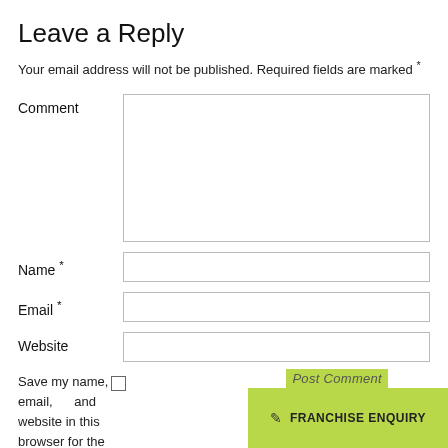Leave a Reply
Your email address will not be published. Required fields are marked *
Comment
Name *
Email *
Website
Save my name, email, and website in this browser for the
FRANCHISE ENQUIRY